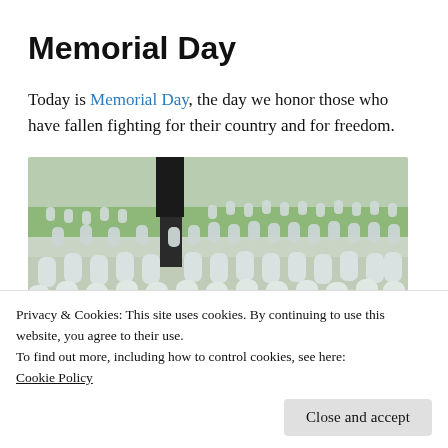Memorial Day
Today is Memorial Day, the day we honor those who have fallen fighting for their country and for freedom.
[Figure (photo): A cemetery with many white gravestones arranged in rows on a green lawn, with a dark tree trunk visible in the background.]
Privacy & Cookies: This site uses cookies. By continuing to use this website, you agree to their use.
To find out more, including how to control cookies, see here:
Cookie Policy
Close and accept